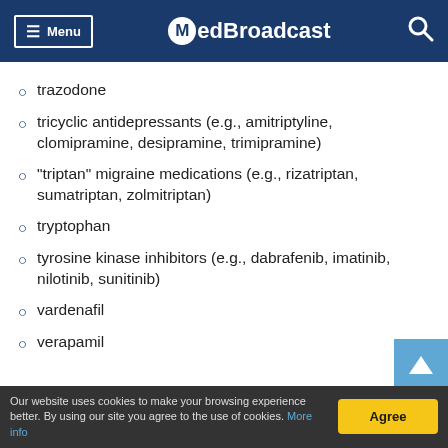Menu | MedBroadcast
trazodone
tricyclic antidepressants (e.g., amitriptyline, clomipramine, desipramine, trimipramine)
"triptan" migraine medications (e.g., rizatriptan, sumatriptan, zolmitriptan)
tryptophan
tyrosine kinase inhibitors (e.g., dabrafenib, imatinib, nilotinib, sunitinib)
vardenafil
verapamil
Our website uses cookies to make your browsing experience better. By using our site you agree to the use of cookies. More info